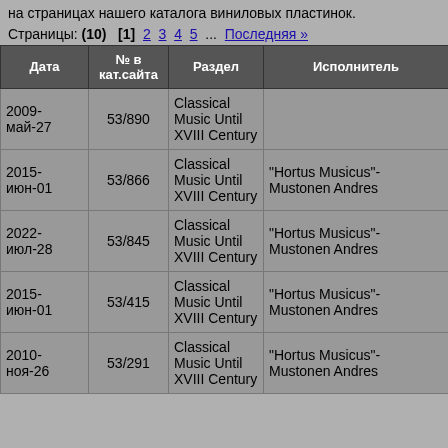на страницах нашего каталога виниловых пластинок.
Страницы: (10)  [1] 2 3 4 5 ... Последняя »
| Дата | № в кат.сайта | Раздел | Исполнитель |
| --- | --- | --- | --- |
| 2009-май-27 | 53/890 | Classical Music Until XVIII Century |  |
| 2015-июн-01 | 53/866 | Classical Music Until XVIII Century | "Hortus Musicus"- Mustonen Andres |
| 2022-июл-28 | 53/845 | Classical Music Until XVIII Century | "Hortus Musicus"- Mustonen Andres |
| 2015-июн-01 | 53/415 | Classical Music Until XVIII Century | "Hortus Musicus"- Mustonen Andres |
| 2010-ноя-26 | 53/291 | Classical Music Until XVIII Century | "Hortus Musicus"- Mustonen Andres |